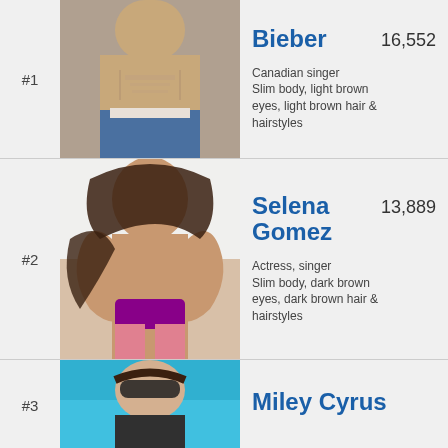#1
[Figure (photo): Justin Bieber shirtless photo]
Bieber
16,552
Canadian singer
Slim body, light brown eyes, light brown hair & hairstyles
#2
[Figure (photo): Selena Gomez bikini photo]
Selena Gomez
13,889
Actress, singer
Slim body, dark brown eyes, dark brown hair & hairstyles
#3
[Figure (photo): Miley Cyrus outdoor photo with sunglasses]
Miley Cyrus